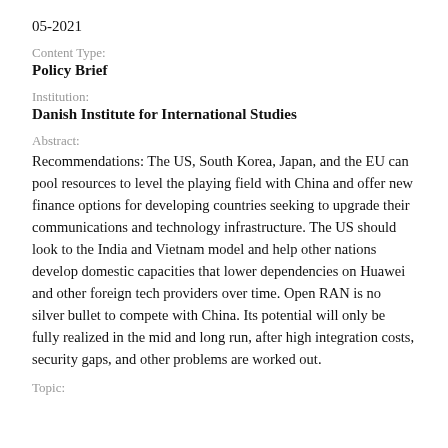05-2021
Content Type:
Policy Brief
Institution:
Danish Institute for International Studies
Abstract:
Recommendations: The US, South Korea, Japan, and the EU can pool resources to level the playing field with China and offer new finance options for developing countries seeking to upgrade their communications and technology infrastructure. The US should look to the India and Vietnam model and help other nations develop domestic capacities that lower dependencies on Huawei and other foreign tech providers over time. Open RAN is no silver bullet to compete with China. Its potential will only be fully realized in the mid and long run, after high integration costs, security gaps, and other problems are worked out.
Topic: